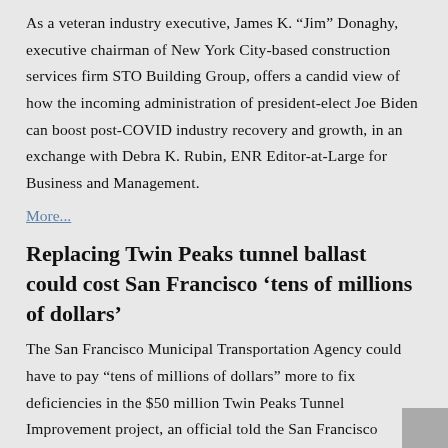As a veteran industry executive, James K. “Jim” Donaghy, executive chairman of New York City-based construction services firm STO Building Group, offers a candid view of how the incoming administration of president-elect Joe Biden can boost post-COVID industry recovery and growth, in an exchange with Debra K. Rubin, ENR Editor-at-Large for Business and Management.
More...
Replacing Twin Peaks tunnel ballast could cost San Francisco ‘tens of millions of dollars’
The San Francisco Municipal Transportation Agency could have to pay “tens of millions of dollars” more to fix deficiencies in the $50 million Twin Peaks Tunnel Improvement project, an official told the San Francisco County Transportation Authority at a meeting earlier this month.